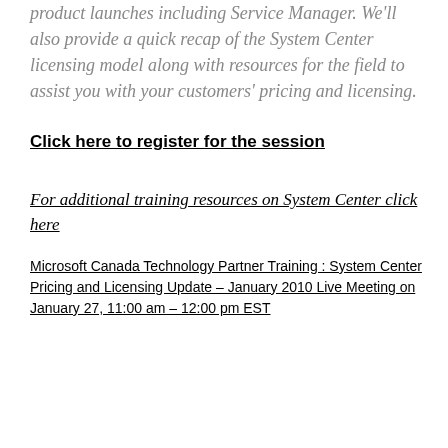product launches including Service Manager. We'll also provide a quick recap of the System Center licensing model along with resources for the field to assist you with your customers' pricing and licensing.
Click here to register for the session
For additional training resources on System Center click here
Microsoft Canada Technology Partner Training : System Center Pricing and Licensing Update – January 2010 Live Meeting on January 27, 11:00 am – 12:00 pm EST